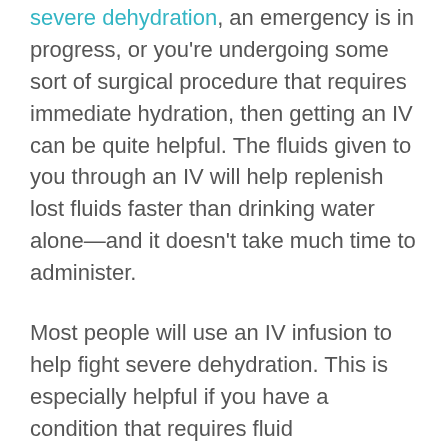severe dehydration, an emergency is in progress, or you're undergoing some sort of surgical procedure that requires immediate hydration, then getting an IV can be quite helpful. The fluids given to you through an IV will help replenish lost fluids faster than drinking water alone—and it doesn't take much time to administer.
Most people will use an IV infusion to help fight severe dehydration. This is especially helpful if you have a condition that requires fluid administration throughout your day (like diabetes, kidney failure, or heart disease). When you're administered fluids through an IV, they're more quickly absorbed